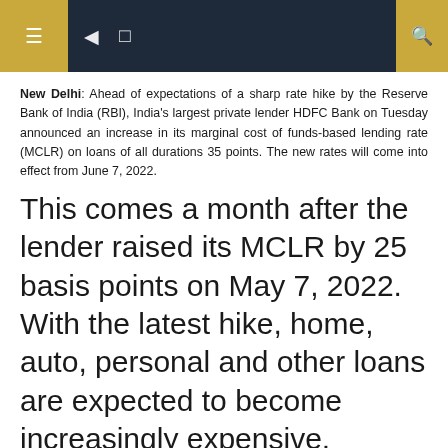Navigation header bar with menu icons and search
New Delhi: Ahead of expectations of a sharp rate hike by the Reserve Bank of India (RBI), India's largest private lender HDFC Bank on Tuesday announced an increase in its marginal cost of funds-based lending rate (MCLR) on loans of all durations 35 points. The new rates will come into effect from June 7, 2022.
This comes a month after the lender raised its MCLR by 25 basis points on May 7, 2022. With the latest hike, home, auto, personal and other loans are expected to become increasingly expensive. Additionally, this latest increase in MCLR means higher EMIs for HDFC Bank customers across a range of loans.